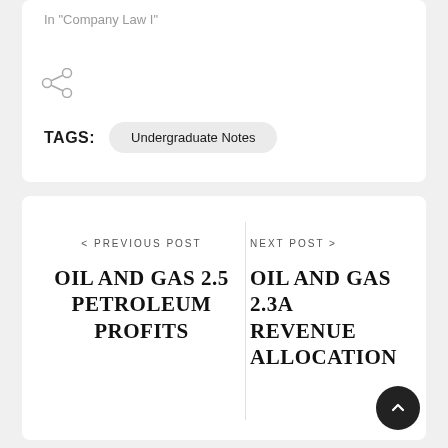In "Company Law I"
[Figure (illustration): Share/network icon (three connected circles)]
TAGS:  Undergraduate Notes
< PREVIOUS POST
OIL AND GAS 2.5 PETROLEUM PROFITS
NEXT POST >
OIL AND GAS 2.3A REVENUE ALLOCATION